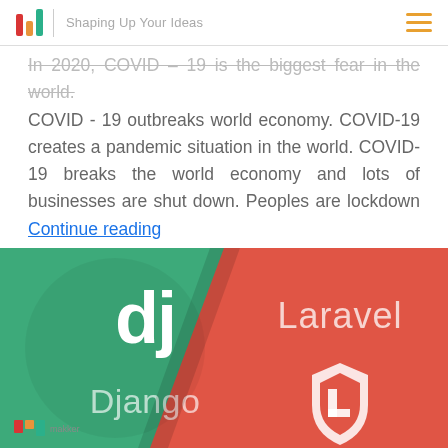Shaping Up Your Ideas
In 2020, COVID – 19 is the biggest fear in the world. COVID - 19 outbreaks world economy. COVID-19 creates a pandemic situation in the world. COVID-19 breaks the world economy and lots of businesses are shut down. Peoples are lockdown Continue reading
[Figure (illustration): Split image showing Django (green left half with 'dj' logo and 'Django' text) and Laravel (red right half with 'Laravel' text and Laravel shield logo). Bottom left shows makker branding.]